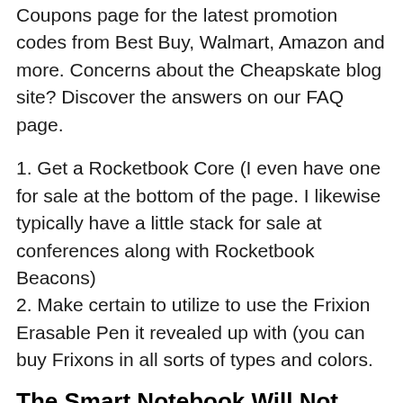Coupons page for the latest promotion codes from Best Buy, Walmart, Amazon and more. Concerns about the Cheapskate blog site? Discover the answers on our FAQ page.
1. Get a Rocketbook Core (I even have one for sale at the bottom of the page. I likewise typically have a little stack for sale at conferences along with Rocketbook Beacons)
2. Make certain to utilize to use the Frixion Erasable Pen it revealed up with (you can buy Frixons in all sorts of types and colors.
The Smart Notebook Will Not Open Diaries
Write some notes 4 (Smart Notebook Will Not Open). Download the Rocketbook App to save